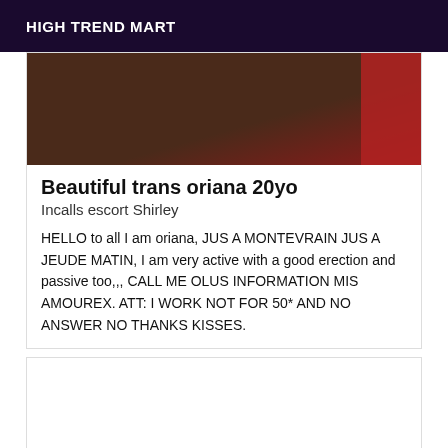HIGH TREND MART
[Figure (photo): Cropped photo showing dark brown background on left and red fabric/clothing on right edge]
Beautiful trans oriana 20yo
Incalls escort Shirley
HELLO to all I am oriana, JUS A MONTEVRAIN JUS A JEUDE MATIN, I am very active with a good erection and passive too,,,  CALL ME OLUS INFORMATION MIS AMOUREX. ATT: I WORK NOT FOR 50* AND NO ANSWER NO THANKS KISSES.